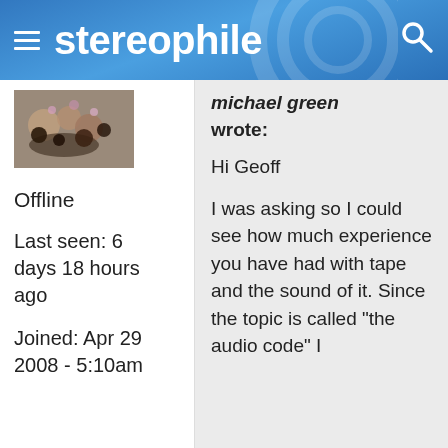stereophile
[Figure (photo): User avatar thumbnail showing jewelry/beads]
Offline
Last seen: 6 days 18 hours ago
Joined: Apr 29 2008 - 5:10am
michael green wrote:
Hi Geoff

I was asking so I could see how much experience you have had with tape and the sound of it. Since the topic is called "the audio code" I